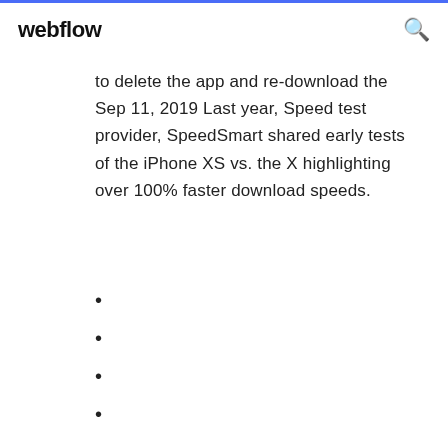webflow
to delete the app and re-download the Sep 11, 2019 Last year, Speed test provider, SpeedSmart shared early tests of the iPhone XS vs. the X highlighting over 100% faster download speeds.